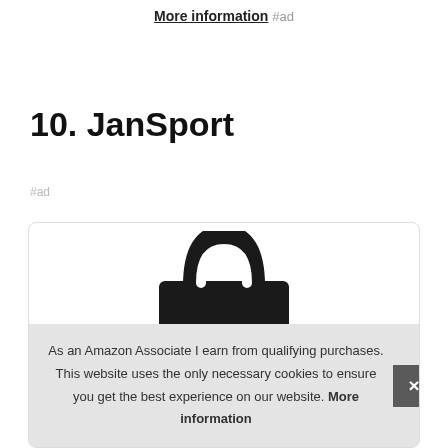More information #ad
10. JanSport
#ad
[Figure (photo): Product card showing a JanSport backpack (dark colored bag with handle visible at top), partially obscured by a cookie consent notice.]
As an Amazon Associate I earn from qualifying purchases. This website uses the only necessary cookies to ensure you get the best experience on our website. More information